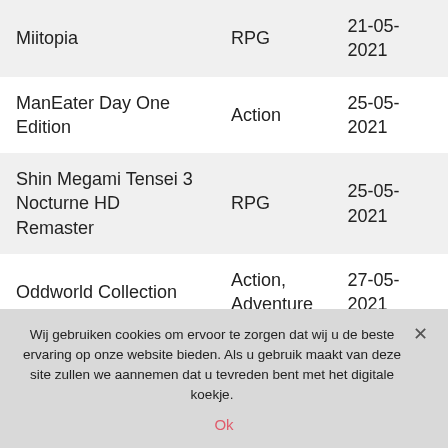| Game | Genre | Date |
| --- | --- | --- |
| Miitopia | RPG | 21-05-2021 |
| ManEater Day One Edition | Action | 25-05-2021 |
| Shin Megami Tensei 3 Nocturne HD Remaster | RPG | 25-05-2021 |
| Oddworld Collection | Action, Adventure | 27-05-2021 |
Wij gebruiken cookies om ervoor te zorgen dat wij u de beste ervaring op onze website bieden. Als u gebruik maakt van deze site zullen we aannemen dat u tevreden bent met het digitale koekje.
Ok